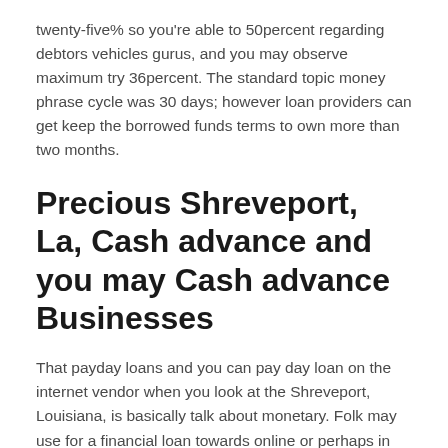twenty-five% so you're able to 50percent regarding debtors vehicles gurus, and you may observe maximum try 36percent. The standard topic money phrase cycle was 30 days; however loan providers can get keep the borrowed funds terms to own more than two months.
Precious Shreveport, La, Cash advance and you may Cash advance Businesses
That payday loans and you can pay day loan on the internet vendor when you look at the Shreveport, Louisiana, is basically talk about monetary. Folk may use for a financial loan towards online or perhaps in shop. The application experience punctual, given that consumers are able to use a quick payday loan away from in the more $300. They even offer headings